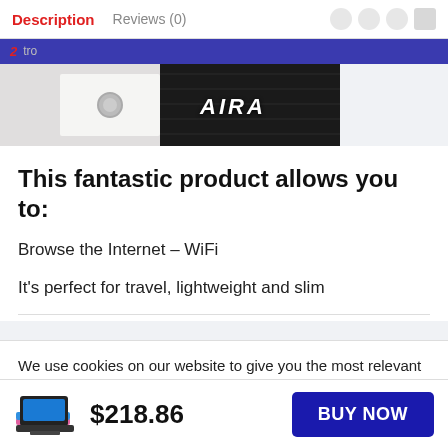Description   Reviews (0)
[Figure (screenshot): Browser navigation bar with blue background showing a logo and URL 'tro']
[Figure (photo): Partial product image showing a laptop with AIRA branding on a dark carbon-fiber surface next to a white fabric]
This fantastic product allows you to:
Browse the Internet – WiFi
It's perfect for travel, lightweight and slim
We use cookies on our website to give you the most relevant experience by remembering your preferences and repeat visits. By clicking “Accept”, you consent to the use of ALL the cookies.
$218.86
BUY NOW